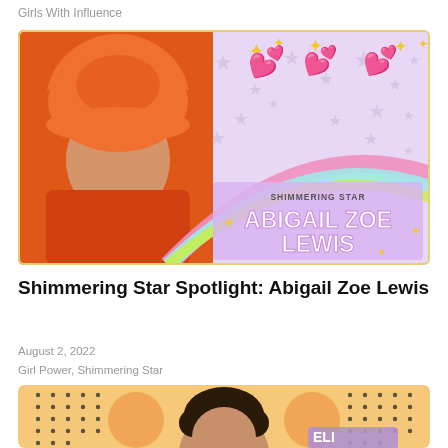Girls With Influence
[Figure (illustration): Promotional banner for 'Shimmering Star: Abigail Zoe Lewis' featuring a person in orange fur hat and outfit on the left, with sparkle hearts, stars, and rainbow arc design on purple background with the text SHIMMERING STAR ABIGAIL ZOE LEWIS]
Shimmering Star Spotlight: Abigail Zoe Lewis
August 2, 2022
Girl Power, Shimmering Star
[Figure (photo): Partial view of a second article card with orange/tan background, dot pattern, orange circles, and a person with curly dark hair partially visible]